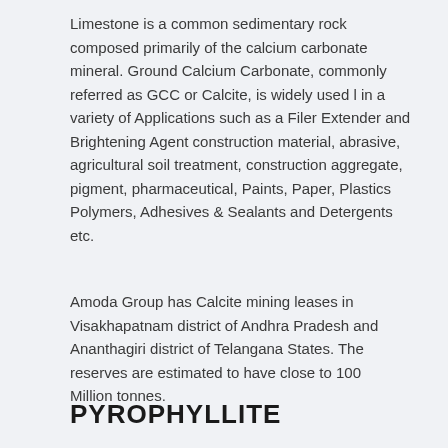Limestone is a common sedimentary rock composed primarily of the calcium carbonate mineral. Ground Calcium Carbonate, commonly referred as GCC or Calcite, is widely used l in a variety of Applications such as a Filer Extender and Brightening Agent construction material, abrasive, agricultural soil treatment, construction aggregate, pigment, pharmaceutical, Paints, Paper, Plastics Polymers, Adhesives & Sealants and Detergents etc.
Amoda Group has Calcite mining leases in Visakhapatnam district of Andhra Pradesh and Ananthagiri district of Telangana States. The reserves are estimated to have close to 100 Million tonnes.
PYROPHYLLITE